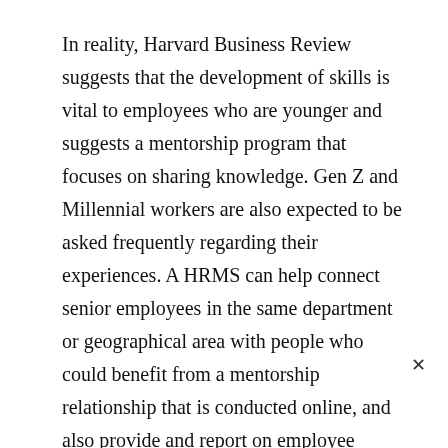In reality, Harvard Business Review suggests that the development of skills is vital to employees who are younger and suggests a mentorship program that focuses on sharing knowledge. Gen Z and Millennial workers are also expected to be asked frequently regarding their experiences. A HRMS can help connect senior employees in the same department or geographical area with people who could benefit from a mentorship relationship that is conducted online, and also provide and report on employee satisfaction and satisfaction surveys.